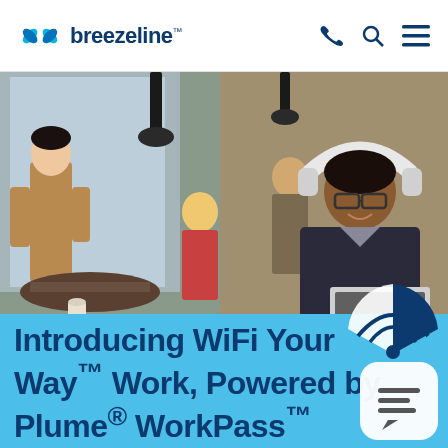breezeline
[Figure (photo): People working in a café; a young man with glasses and white headphones works on a laptop in the foreground, while a barista and other patrons are in the background.]
Introducing WiFi Your Way™ Work, Powered by Plume® WorkPass™